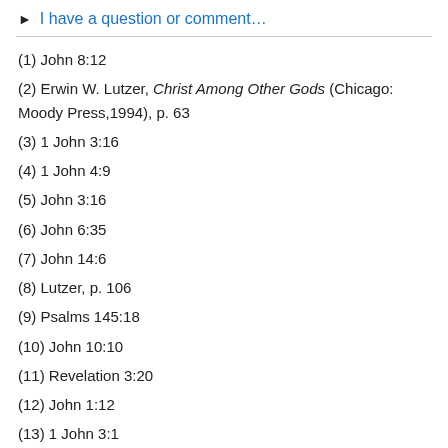► I have a question or comment…
(1) John 8:12
(2) Erwin W. Lutzer, Christ Among Other Gods (Chicago: Moody Press,1994), p. 63
(3) 1 John 3:16
(4) 1 John 4:9
(5) John 3:16
(6) John 6:35
(7) John 14:6
(8) Lutzer, p. 106
(9) Psalms 145:18
(10) John 10:10
(11) Revelation 3:20
(12) John 1:12
(13) 1 John 3:1